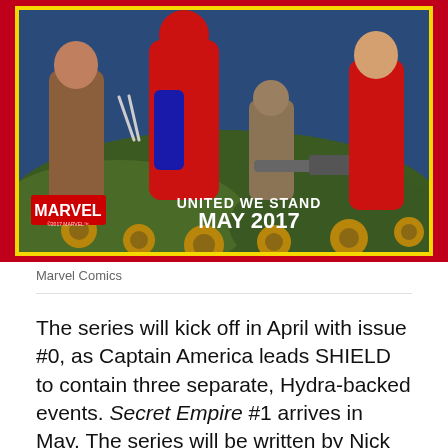[Figure (illustration): Marvel Comics promotional artwork for 'Secret Empire'. Shows multiple Marvel superhero characters including Spider-Man, Rocket Raccoon, Star-Lord, and others running/fighting against a colorful background. Text overlay reads 'UNITED WE STAND MAY 2017' with Marvel logo.]
Marvel Comics
The series will kick off in April with issue #0, as Captain America leads SHIELD to contain three separate, Hydra-backed events. Secret Empire #1 arrives in May. The series will be written by Nick Spencer and will feature art from Steve McNiven,